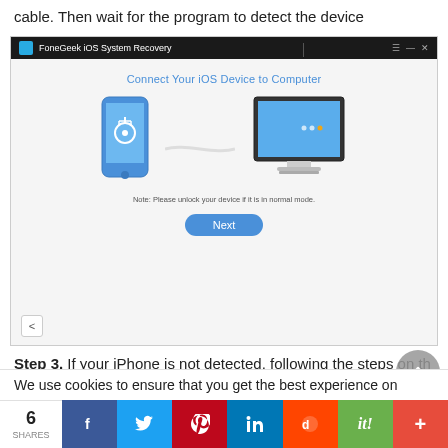cable. Then wait for the program to detect the device
[Figure (screenshot): FoneGeek iOS System Recovery application window showing 'Connect Your iOS Device to Computer' screen with phone and monitor illustration, cable, note text, and Next button]
Step 3. If your iPhone is not detected, following the steps on the interface to put the device into Recovery/DFU mode.
We use cookies to ensure that you get the best experience on
6 SHARES social share bar: Facebook, Twitter, Pinterest, LinkedIn, Reddit, it!, +